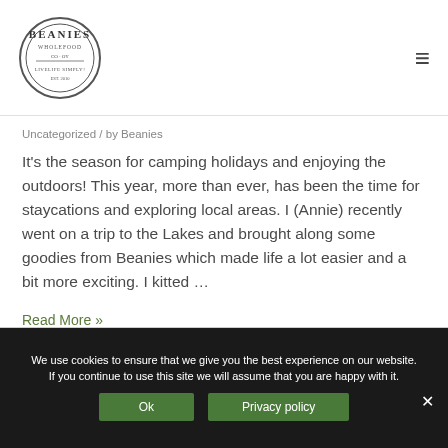Beanies logo and navigation menu
Uncategorized / by Beanies
It's the season for camping holidays and enjoying the outdoors! This year, more than ever, has been the time for staycations and exploring local areas. I (Annie) recently went on a trip to the Lakes and brought along some goodies from Beanies which made life a lot easier and a bit more exciting. I kitted …
Read More »
We use cookies to ensure that we give you the best experience on our website. If you continue to use this site we will assume that you are happy with it.